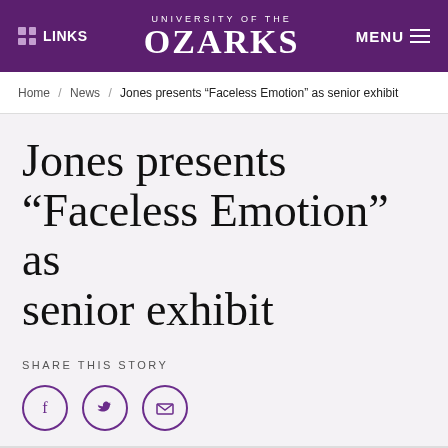LINKS | UNIVERSITY OF THE OZARKS | MENU
Home / News / Jones presents “Faceless Emotion” as senior exhibit
Jones presents “Faceless Emotion” as senior exhibit
SHARE THIS STORY
[Figure (infographic): Three circular social sharing buttons: Facebook (f), Twitter (bird), and Email (envelope icon), all in purple outline style]